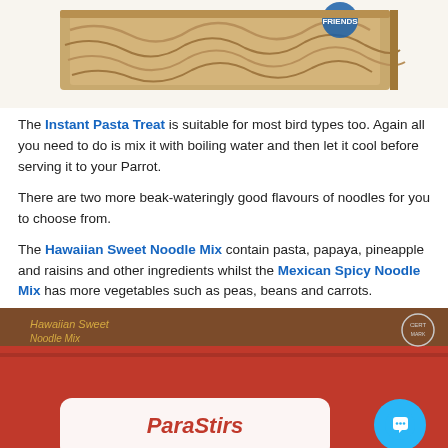[Figure (photo): Photo of a pasta/noodle treat box, showing tangled pasta noodles and packaging, cropped at top of page.]
The Instant Pasta Treat is suitable for most bird types too. Again all you need to do is mix it with boiling water and then let it cool before serving it to your Parrot.
There are two more beak-wateringly good flavours of noodles for you to choose from.
The Hawaiian Sweet Noodle Mix contain pasta, papaya, pineapple and raisins and other ingredients whilst the Mexican Spicy Noodle Mix has more vegetables such as peas, beans and carrots.
[Figure (photo): Photo of a red and brown Hawaiian Sweet Noodle Mix box with 'ParaStirs' branding, partially cropped at bottom of page.]